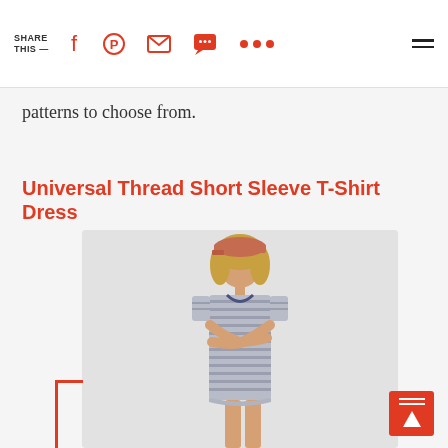SHARE THIS —
patterns to choose from.
Universal Thread Short Sleeve T-Shirt Dress
[Figure (photo): A woman wearing a striped grey and white short sleeve t-shirt dress with a blue neckline trim, paired with a dusty rose/terracotta baseball cap. She is posing with arms crossed, shown from head to mid-thigh against a light grey background.]